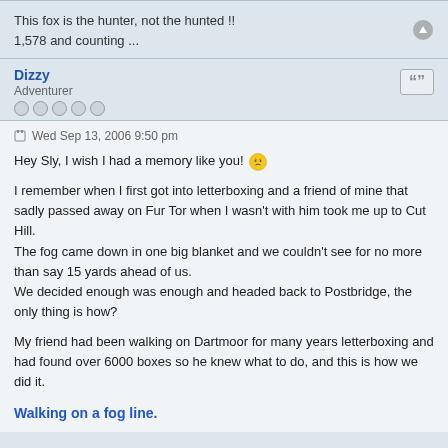This fox is the hunter, not the hunted !!
1,578 and counting ...
Dizzy
Adventurer
Wed Sep 13, 2006 9:50 pm
Hey Sly, I wish I had a memory like you!
I remember when I first got into letterboxing and a friend of mine that sadly passed away on Fur Tor when I wasn't with him took me up to Cut Hill. The fog came down in one big blanket and we couldn't see for no more than say 15 yards ahead of us.
We decided enough was enough and headed back to Postbridge, the only thing is how?
My friend had been walking on Dartmoor for many years letterboxing and had found over 6000 boxes so he knew what to do, and this is how we did it.
Walking on a fog line.